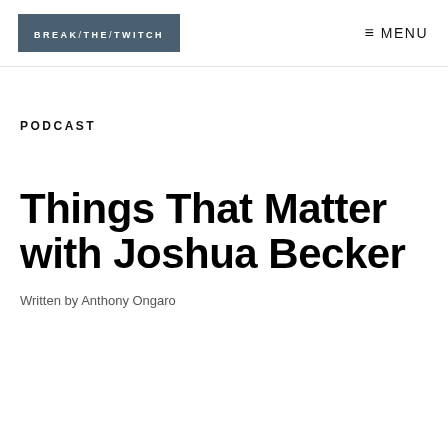BREAK/THE/TWITCH — MENU
PODCAST
Things That Matter with Joshua Becker
Written by Anthony Ongaro